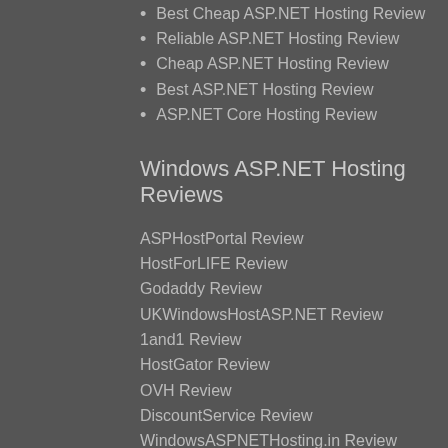Best Cheap ASP.NET Hosting Review
Reliable ASP.NET Hosting Review
Cheap ASP.NET Hosting Review
Best ASP.NET Hosting Review
ASP.NET Core Hosting Review
Windows ASP.NET Hosting Reviews
ASPHostPortal Review
HostForLIFE Review
Godaddy Review
UKWindowsHostASP.NET Review
1and1 Review
HostGator Review
OVH Review
DiscountService Review
WindowsASPNETHosting.in Review
FTC Disclosure